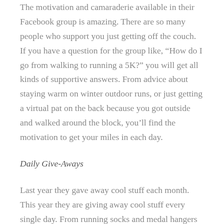The motivation and camaraderie available in their Facebook group is amazing. There are so many people who support you just getting off the couch. If you have a question for the group like, “How do I go from walking to running a 5K?” you will get all kinds of supportive answers. From advice about staying warm on winter outdoor runs, or just getting a virtual pat on the back because you got outside and walked around the block, you’ll find the motivation to get your miles in each day.
Daily Give-Aways
Last year they gave away cool stuff each month. This year they are giving away cool stuff every single day. From running socks and medal hangers to running shoes and books, there’s a ton of fun and useful things which with you could walk away. Last year I won a new pair of Skechers.